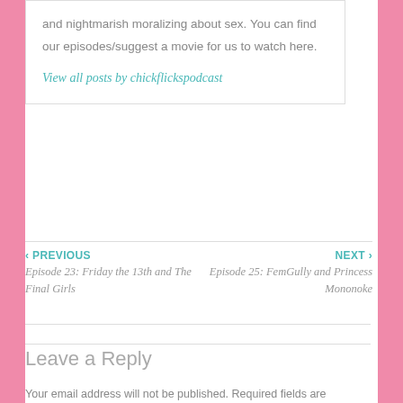and nightmarish moralizing about sex. You can find our episodes/suggest a movie for us to watch here.
View all posts by chickflickspodcast
‹ PREVIOUS
Episode 23: Friday the 13th and The Final Girls
NEXT ›
Episode 25: FemGully and Princess Mononoke
Leave a Reply
Your email address will not be published. Required fields are marked *